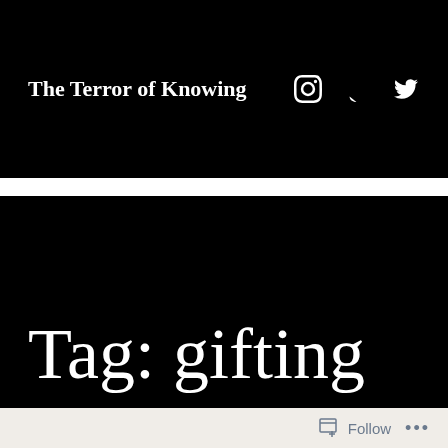The Terror of Knowing
Tag: gifting
Follow ...